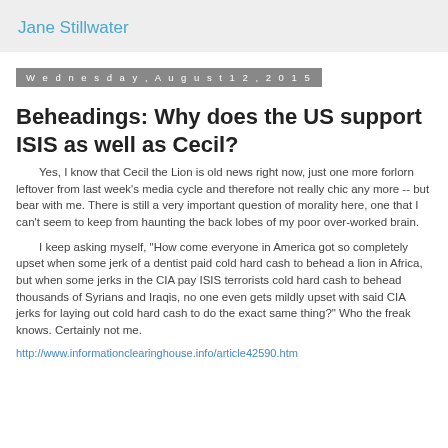Jane Stillwater
Wednesday, August 12, 2015
Beheadings: Why does the US support ISIS as well as Cecil?
Yes, I know that Cecil the Lion is old news right now, just one more forlorn leftover from last week's media cycle and therefore not really chic any more -- but bear with me.  There is still a very important question of morality here, one that I can't seem to keep from haunting the back lobes of my poor over-worked brain.
I keep asking myself, "How come everyone in America got so completely upset when some jerk of a dentist paid cold hard cash to behead a lion in Africa, but when some jerks in the CIA pay ISIS terrorists cold hard cash to behead thousands of Syrians and Iraqis, no one even gets mildly upset with said CIA jerks for laying out cold hard cash to do the exact same thing?"  Who the freak knows.  Certainly not me.
http://www.informationclearinghouse.info/article42590.htm